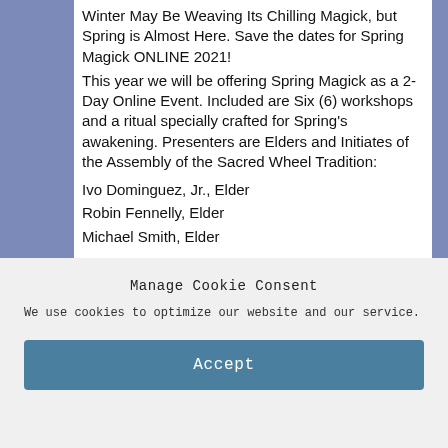Winter May Be Weaving Its Chilling Magick, but Spring is Almost Here. Save the dates for Spring Magick ONLINE 2021!
This year we will be offering Spring Magick as a 2-Day Online Event. Included are Six (6) workshops and a ritual specially crafted for Spring's awakening. Presenters are Elders and Initiates of the Assembly of the Sacred Wheel Tradition:
Ivo Dominguez, Jr., Elder
Robin Fennelly, Elder
Michael Smith, Elder
Manage Cookie Consent
We use cookies to optimize our website and our service.
Accept